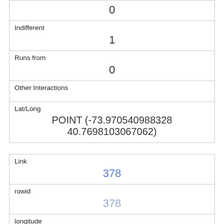| 0 |
| Indifferent | 1 |
| Runs from | 0 |
| Other Interactions |  |
| Lat/Long | POINT (-73.970540988328 40.7698103067062) |
| Link | 378 |
| rowid | 378 |
| longitude | -73.95848354168459 |
| latitude | 40.7978213396921 |
| Unique Squirrel ID | 39B-PM-1014-06 |
| Hectare |  |